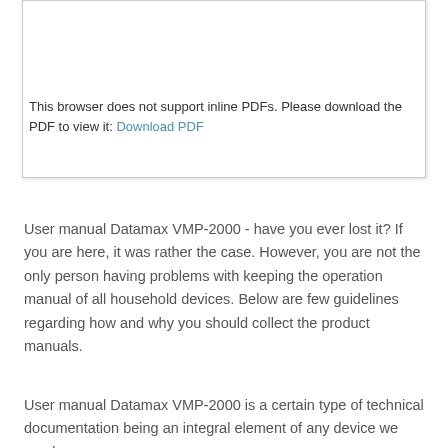This browser does not support inline PDFs. Please download the PDF to view it: Download PDF
User manual Datamax VMP-2000 - have you ever lost it? If you are here, it was rather the case. However, you are not the only person having problems with keeping the operation manual of all household devices. Below are few guidelines regarding how and why you should collect the product manuals.
User manual Datamax VMP-2000 is a certain type of technical documentation being an integral element of any device we purchase.